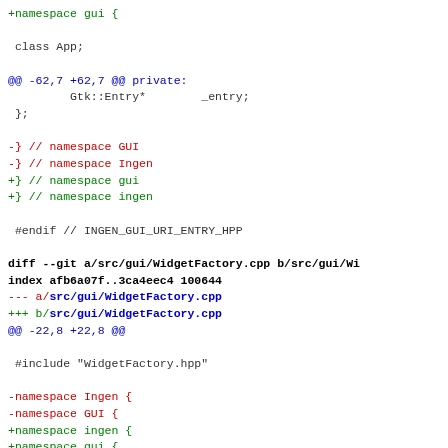Code diff showing changes to namespace naming and WidgetFactory.cpp
+namespace gui {

 class App;

@@ -62,7 +62,7 @@ private:
         Gtk::Entry*        _entry;
 };

-} // namespace GUI
-} // namespace Ingen
+} // namespace gui
+} // namespace ingen

 #endif // INGEN_GUI_URI_ENTRY_HPP

diff --git a/src/gui/WidgetFactory.cpp b/src/gui/Wi
index afb6a07f..3ca4eec4 100644
--- a/src/gui/WidgetFactory.cpp
+++ b/src/gui/WidgetFactory.cpp
@@ -22,8 +22,8 @@

 #include "WidgetFactory.hpp"

-namespace Ingen {
-namespace GUI {
+namespace ingen {
+namespace gui {

 Glib::ustring WidgetFactory::ui_filename = "";